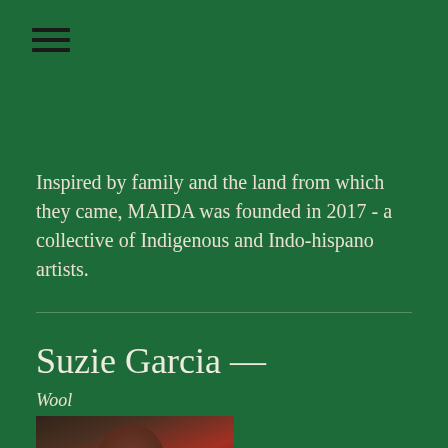[Figure (other): Hamburger/menu icon — three horizontal dark lines stacked vertically in the top-left corner]
Inspired by family and the land from which they came, MAIDA was founded in 2017 - a collective of Indigenous and Indo-hispano artists.
Suzie Garcia —
Wool
[Figure (photo): Photograph of a woman with dark hair wearing a red top, partially lit, in what appears to be an art studio or workshop setting]